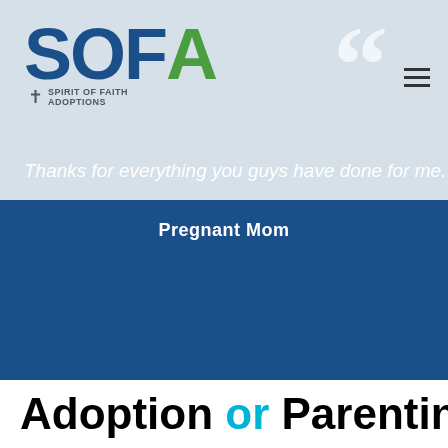[Figure (logo): Spirit of Faith Adoptions (SOFA) logo with blue S, O, F letters and green A, with cross icon and tagline SPIRIT OF FAITH ADOPTIONS]
Thanks for everything you guys have done for me.
Pregnant Mom
Adoption or Parenting?